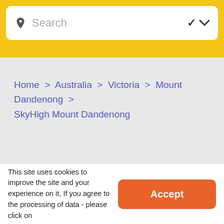[Figure (screenshot): Search bar with location pin icon and chevron dropdown arrow, inside a white rounded box on a yellow background header]
Home > Australia > Victoria > Mount Dandenong > SkyHigh Mount Dandenong
This site uses cookies to improve the site and your experience on it, If you agree to the processing of data - please click on
Accept